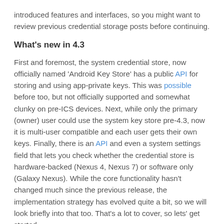introduced features and interfaces, so you might want to review previous credential storage posts before continuing.
What's new in 4.3
First and foremost, the system credential store, now officially named 'Android Key Store' has a public API for storing and using app-private keys. This was possible before too, but not officially supported and somewhat clunky on pre-ICS devices. Next, while only the primary (owner) user could use the system key store pre-4.3, now it is multi-user compatible and each user gets their own keys. Finally, there is an API and even a system settings field that lets you check whether the credential store is hardware-backed (Nexus 4, Nexus 7) or software only (Galaxy Nexus). While the core functionality hasn't changed much since the previous release, the implementation strategy has evolved quite a bit, so we will look briefly into that too. That's a lot to cover, so lets' get started.